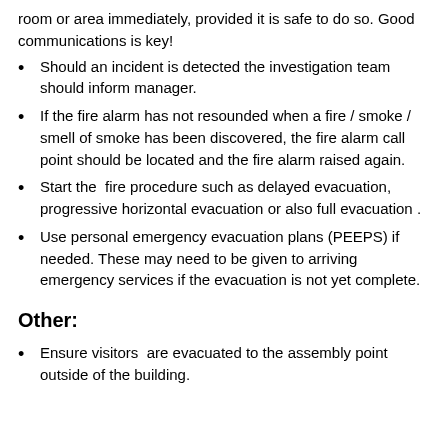room or area immediately, provided it is safe to do so. Good communications is key!
Should an incident is detected the investigation team should inform manager.
If the fire alarm has not resounded when a fire / smoke / smell of smoke has been discovered, the fire alarm call point should be located and the fire alarm raised again.
Start the fire procedure such as delayed evacuation, progressive horizontal evacuation or also full evacuation .
Use personal emergency evacuation plans (PEEPS) if needed. These may need to be given to arriving emergency services if the evacuation is not yet complete.
Other:
Ensure visitors  are evacuated to the assembly point outside of the building.